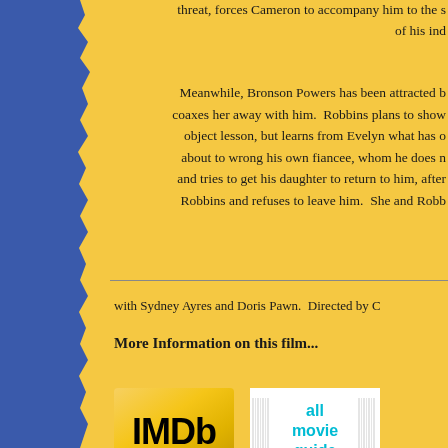threat, forces Cameron to accompany him to the s... of his ind...
Meanwhile, Bronson Powers has been attracted b... coaxes her away with him. Robbins plans to show... object lesson, but learns from Evelyn what has o... about to wrong his own fiancee, whom he does r... and tries to get his daughter to return to him, after... Robbins and refuses to leave him. She and Robb...
with Sydney Ayres and Doris Pawn. Directed by C...
More Information on this film...
[Figure (logo): IMDb logo — gold gradient background with bold black 'IMDb' text]
[Figure (logo): All Movie Guide logo — white background with cyan/teal text 'all movie guide' and barcode-like stripes]
[Figure (logo): Silent Era banner — dark background with sepia face photo and white bold text 'Silent Era']